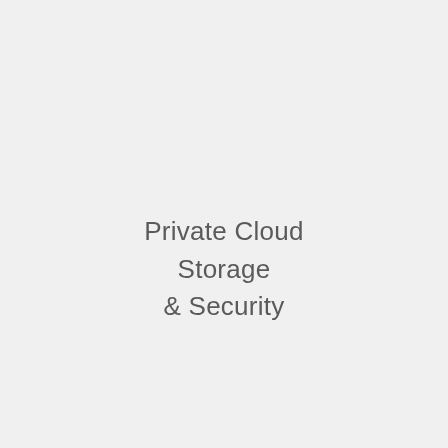Private Cloud Storage & Security